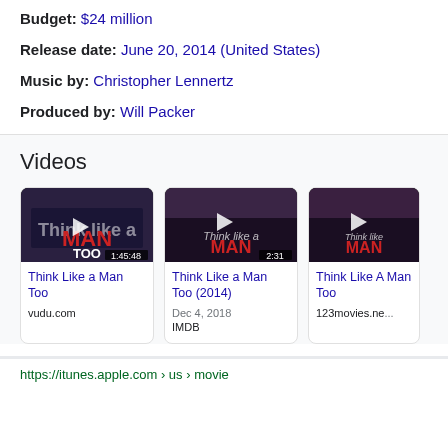Budget: $24 million
Release date: June 20, 2014 (United States)
Music by: Christopher Lennertz
Produced by: Will Packer
Videos
[Figure (screenshot): Video thumbnail for Think Like a Man Too, duration 1:45:48]
Think Like a Man Too
vudu.com
[Figure (screenshot): Video thumbnail for Think Like a Man Too (2014), duration 2:31]
Think Like a Man Too (2014)
Dec 4, 2018
IMDB
[Figure (screenshot): Video thumbnail for Think Like A Man Too, partially visible]
Think Like A Man Too
123movies.ne...
https://itunes.apple.com › us › movie